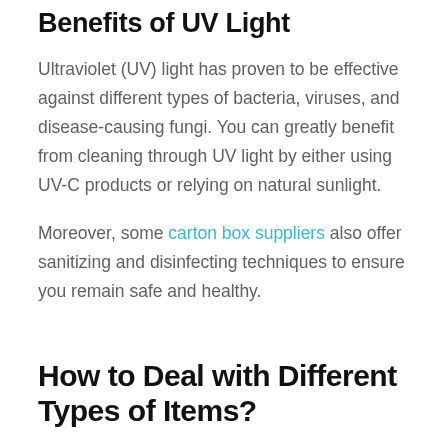Benefits of UV Light
Ultraviolet (UV) light has proven to be effective against different types of bacteria, viruses, and disease-causing fungi. You can greatly benefit from cleaning through UV light by either using UV-C products or relying on natural sunlight.
Moreover, some carton box suppliers also offer sanitizing and disinfecting techniques to ensure you remain safe and healthy.
How to Deal with Different Types of Items?
The exact cleaning and disinfection process can greatly vary on the basis of the item and the carton